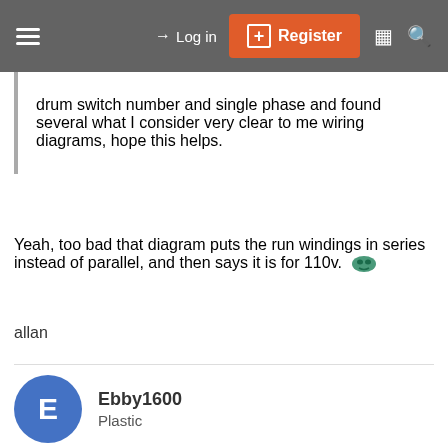Log in | Register
drum switch number and single phase and found several what I consider very clear to me wiring diagrams, hope this helps.
Yeah, too bad that diagram puts the run windings in series instead of parallel, and then says it is for 110v.
allan
Ebby1600
Plastic
Aug 13, 2015   #8
Allan,